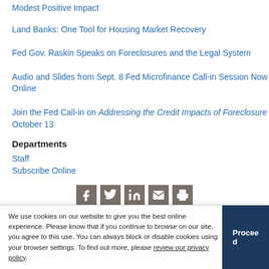Land Banks: One Tool for Housing Market Recovery
Fed Gov. Raskin Speaks on Foreclosures and the Legal System
Audio and Slides from Sept. 8 Fed Microfinance Call-in Session Now Online
Join the Fed Call-in on Addressing the Credit Impacts of Foreclosure October 13
Departments
Staff
Subscribe Online
[Figure (infographic): Social sharing icons: Facebook, Twitter, LinkedIn, Email, Print]
Land Banks: One Tool for Housing Market Recovery
We use cookies on our website to give you the best online experience. Please know that if you continue to browse on our site, you agree to this use. You can always block or disable cookies using your browser settings. To find out more, please review our privacy policy.